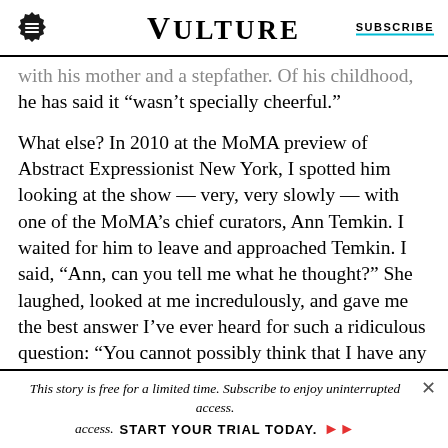VULTURE
with his mother and a stepfather. Of his childhood, he has said it “wasn’t specially cheerful.”
What else? In 2010 at the MoMA preview of Abstract Expressionist New York, I spotted him looking at the show — very, very slowly — with one of the MoMA’s chief curators, Ann Temkin. I waited for him to leave and approached Temkin. I said, “Ann, can you tell me what he thought?” She laughed, looked at me incredulously, and gave me the best answer I’ve ever heard for such a ridiculous question: “You cannot possibly think that I have any
This story is free for a limited time. Subscribe to enjoy uninterrupted access. START YOUR TRIAL TODAY.